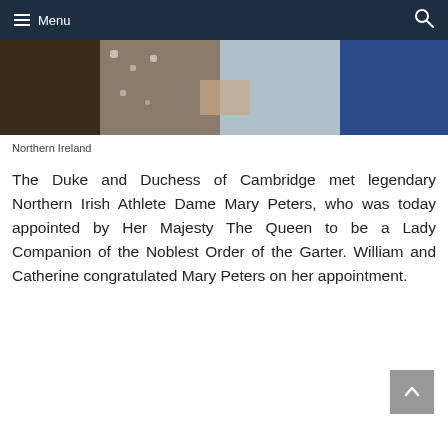Menu
[Figure (photo): A cropped photograph showing the Duke and Duchess of Cambridge with Dame Mary Peters; people in formal attire including a floral dress and a blue suit.]
Northern Ireland
The Duke and Duchess of Cambridge met legendary Northern Irish Athlete Dame Mary Peters, who was today appointed by Her Majesty The Queen to be a Lady Companion of the Noblest Order of the Garter. William and Catherine congratulated Mary Peters on her appointment.